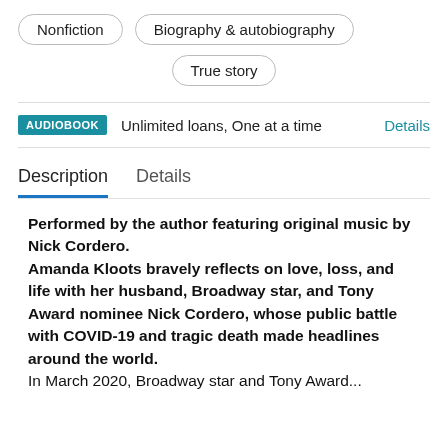Nonfiction
Biography & autobiography
True story
AUDIOBOOK  Unlimited loans, One at a time  Details
Description  Details
Performed by the author featuring original music by Nick Cordero. Amanda Kloots bravely reflects on love, loss, and life with her husband, Broadway star, and Tony Award nominee Nick Cordero, whose public battle with COVID-19 and tragic death made headlines around the world. In March 2020, Broadway star and Tony Award...